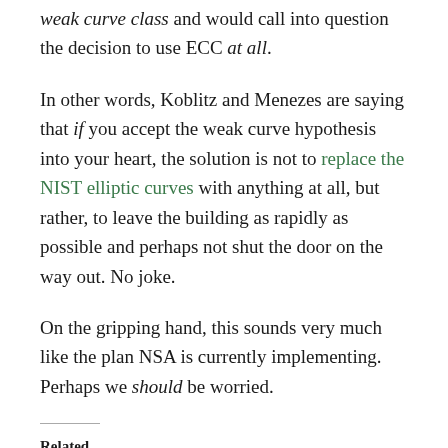weak curve class and would call into question the decision to use ECC at all.
In other words, Koblitz and Menezes are saying that if you accept the weak curve hypothesis into your heart, the solution is not to replace the NIST elliptic curves with anything at all, but rather, to leave the building as rapidly as possible and perhaps not shut the door on the way out. No joke.
On the gripping hand, this sounds very much like the plan NSA is currently implementing. Perhaps we should be worried.
Related
The Many Flaws of Dual_EC_DRBG
September 18, 2013
On the NSA
September 6, 2013
In "NSA"